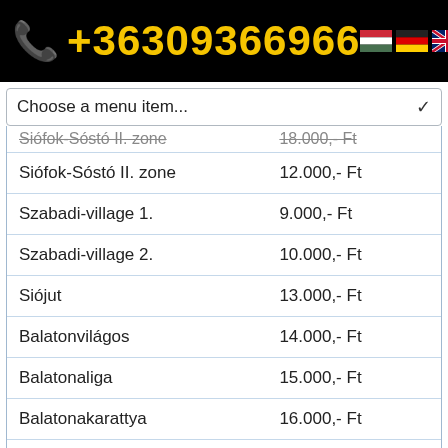+36309366966
Choose a menu item...
| Location | Price |
| --- | --- |
| Siófok-Sóstó II. zone (cut) | 18.000,- Ft (cut) |
| Siófok-Sóstó II. zone | 12.000,- Ft |
| Szabadi-village 1. | 9.000,- Ft |
| Szabadi-village 2. | 10.000,- Ft |
| Siójut | 13.000,- Ft |
| Balatonvilágos | 14.000,- Ft |
| Balatonaliga | 15.000,- Ft |
| Balatonakarattya | 16.000,- Ft |
| Balatonkenese | 20.000,- Ft |